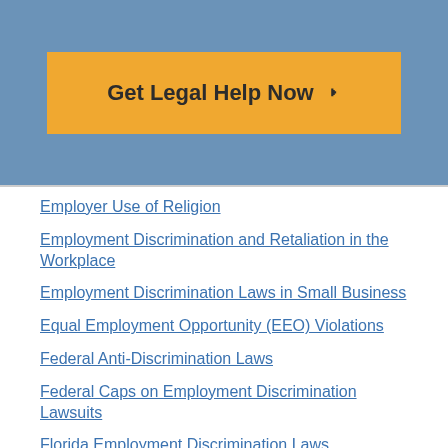[Figure (other): Call-to-action button: 'Get Legal Help Now →' in orange/yellow on blue banner background]
Employer Use of Religion
Employment Discrimination and Retaliation in the Workplace
Employment Discrimination Laws in Small Business
Equal Employment Opportunity (EEO) Violations
Federal Anti-Discrimination Laws
Federal Caps on Employment Discrimination Lawsuits
Florida Employment Discrimination Laws
Hiring Selection Process Lawyers
How to Sue an Employer for Discrimination
Illegal Hiring Laws
Illegal Interview Questions
Obesity Discrimination Lawyers